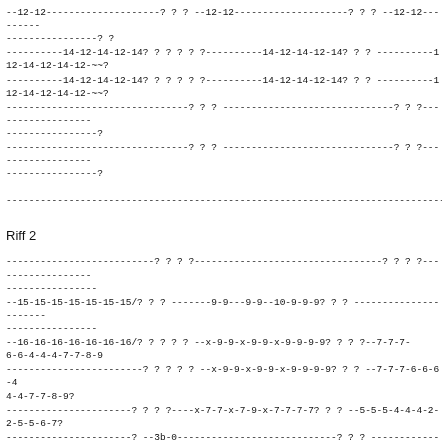--12-12--------------------? ? ? --12-12--------------------? ? ? --12-12---------
----------------? ?
----------14-12-14-12-14? ? ? ? ? ?----------14-12-14-12-14? ? ? ----------1
12-14-12-14-12-~~?
----------14-12-14-12-14? ? ? ? ? ?----------14-12-14-12-14? ? ? ----------1
12-14-12-14-12-~~?
--------------------------------? ? ? ------------------------------? ? ?------------------
----------------?
--------------------------------? ? ? ------------------------------? ? ?------------------
----------------?
--------------------------------------------------------------------------------
Riff 2
--------------------------? ? ? ?---------------------------------? ? ? ?------------------
----------------
--15-15-15-15-15-15-15/? ? ? -------9-9---9-9--10-9-9-9? ? ? ----------------------
----------------
--16-16-16-16-16-16-16/? ? ? ? ? --x-9-9-x-9-9-x-9-9-9-9? ? ? ?--7-7-7-
6-6-4-4-4-7-7-8-9
------------------------? ? ? ? ? --x-9-9-x-9-9-x-9-9-9-9? ? ? --7-7-7-6-6-6-4
4-4-7-7-8-9?
----------------------? ? ? ?----x-7-7-x-7-9-x-7-7-7-7? ? ? --5-5-5-4-4-4-2-
2-5-5-6-7?
----------------------? --3b-0----------------------------? ? ? -----------------------
--------
--------------------------------------------------------------------------------